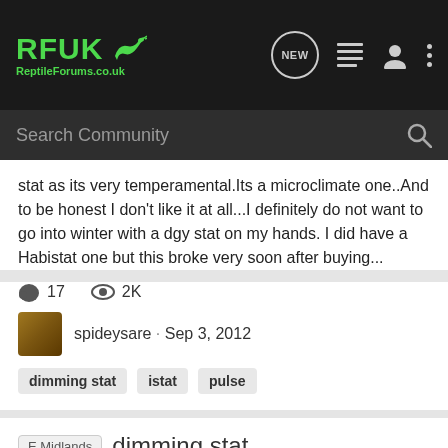[Figure (screenshot): RFUK Reptile Forums logo and navigation bar with search bar]
stat as its very temperamental.Its a microclimate one..And to be honest I don't like it at all...I definitely do not want to go into winter with a dgy stat on my hands. I did have a Habistat one but this broke very soon after buying...
17  2K
spideysare · Sep 3, 2012
dimming stat  istat  pulse
E Midlands  dimming stat
Equipment Classifieds
as above dimming stat needed,if not local to me can you post? regards jamie
1  169